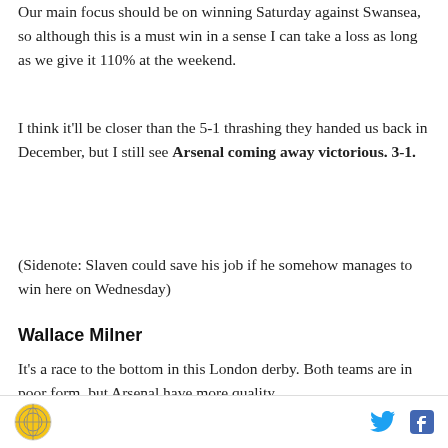Our main focus should be on winning Saturday against Swansea, so although this is a must win in a sense I can take a loss as long as we give it 110% at the weekend.
I think it'll be closer than the 5-1 thrashing they handed us back in December, but I still see Arsenal coming away victorious. 3-1.
(Sidenote: Slaven could save his job if he somehow manages to win here on Wednesday)
Wallace Milner
It's a race to the bottom in this London derby. Both teams are in poor form, but Arsenal have more quality. I see them calling the — want to bet — Arsenal 2-1